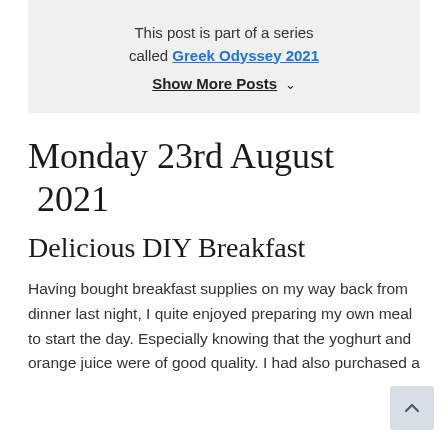This post is part of a series called Greek Odyssey 2021
Show More Posts ∨
Monday 23rd August 2021
Delicious DIY Breakfast
Having bought breakfast supplies on my way back from dinner last night, I quite enjoyed preparing my own meal to start the day. Especially knowing that the yoghurt and orange juice were of good quality. I had also purchased a